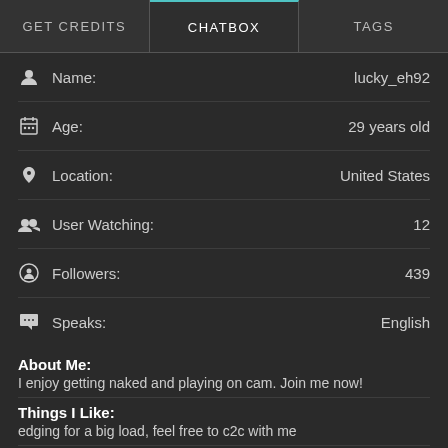GET CREDITS | CHATBOX | TAGS
Name: lucky_eh92
Age: 29 years old
Location: United States
User Watching: 12
Followers: 439
Speaks: English
About Me:
I enjoy getting naked and playing on cam. Join me now!
Things I Like:
edging for a big load, feel free to c2c with me
What Turns Me On:
Guys with tokens who want to have fun with me!
What Turns Me Off: